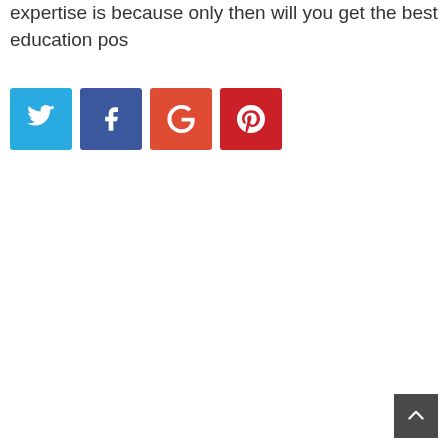expertise is because only then will you get the best education pos
[Figure (infographic): Social media sharing buttons: Twitter (blue), Facebook (dark blue), Google+ (orange-red), Pinterest (red)]
[Figure (other): Back to top button, dark gray square with upward chevron arrow]